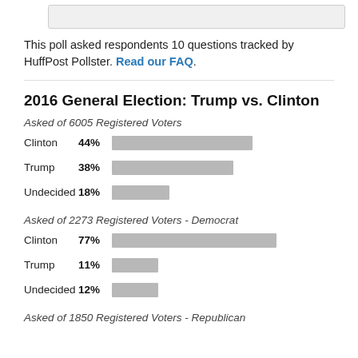[Figure (other): Top partial image bar (cropped from above)]
This poll asked respondents 10 questions tracked by HuffPost Pollster. Read our FAQ.
2016 General Election: Trump vs. Clinton
Asked of 6005 Registered Voters
[Figure (bar-chart): Registered Voters]
Asked of 2273 Registered Voters - Democrat
[Figure (bar-chart): Registered Voters - Democrat]
Asked of 1850 Registered Voters - Republican